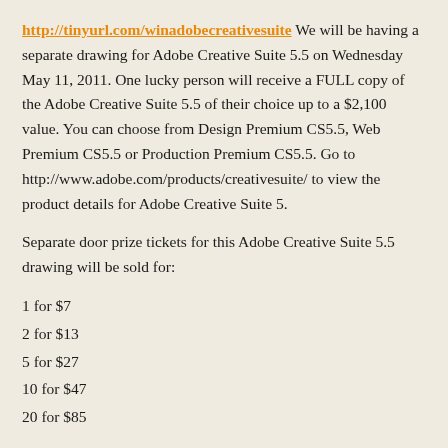http://tinyurl.com/winadobecreativesuite We will be having a separate drawing for Adobe Creative Suite 5.5 on Wednesday May 11, 2011. One lucky person will receive a FULL copy of the Adobe Creative Suite 5.5 of their choice up to a $2,100 value. You can choose from Design Premium CS5.5, Web Premium CS5.5 or Production Premium CS5.5. Go to http://www.adobe.com/products/creativesuite/ to view the product details for Adobe Creative Suite 5.
Separate door prize tickets for this Adobe Creative Suite 5.5 drawing will be sold for:
1 for $7
2 for $13
5 for $27
10 for $47
20 for $85